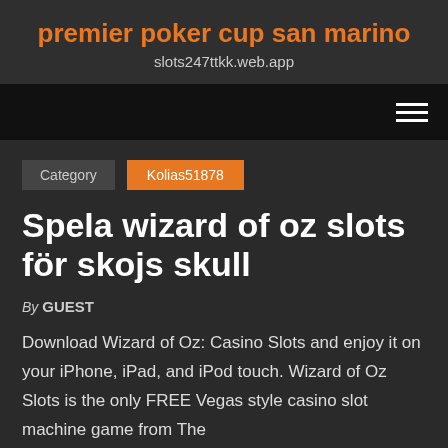premier poker cup san marino
slots247ttkk.web.app
Category  Kolias51878
Spela wizard of oz slots för skojs skull
By GUEST
Download Wizard of Oz: Casino Slots and enjoy it on your iPhone, iPad, and iPod touch. Wizard of Oz Slots is the only FREE Vegas style casino slot machine game from The